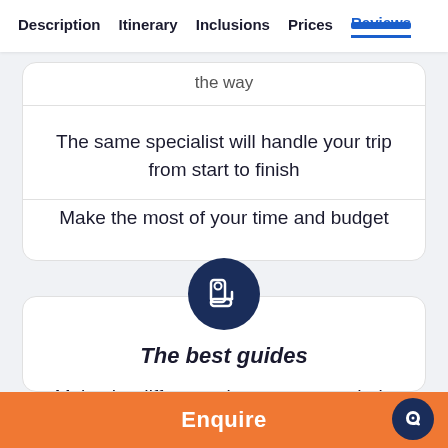Description  Itinerary  Inclusions  Prices  Reviews
the way
The same specialist will handle your trip from start to finish
Make the most of your time and budget
[Figure (illustration): Dark navy circular icon with a person sitting in a seat/chair, white line art style]
The best guides
Make the difference between a good trip and an outstanding one
Enquire